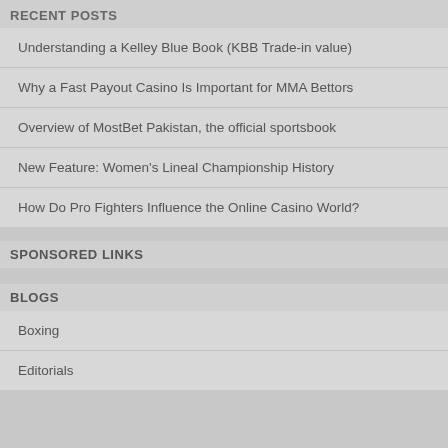RECENT POSTS
Understanding a Kelley Blue Book (KBB Trade-in value)
Why a Fast Payout Casino Is Important for MMA Bettors
Overview of MostBet Pakistan, the official sportsbook
New Feature: Women's Lineal Championship History
How Do Pro Fighters Influence the Online Casino World?
SPONSORED LINKS
BLOGS
Boxing
Editorials